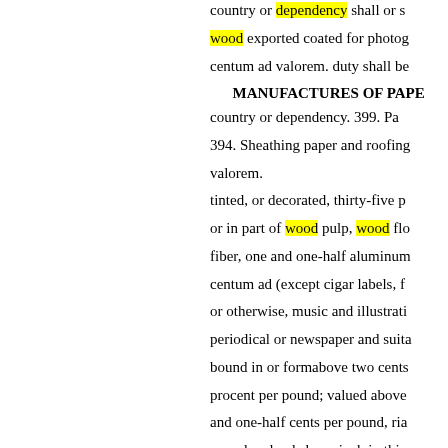country or dependency shall or s... wood exported coated for photog... centum ad valorem. duty shall be...
MANUFACTURES OF PAPE...
country or dependency. 399. Pa... 394. Sheathing paper and roofing... valorem.
tinted, or decorated, thirty-five p... or in part of wood pulp, wood flo... fiber, one and one-half aluminum... centum ad (except cigar labels, f...
or otherwise, music and illustrati... periodical or newspaper and suita... bound in or formabove two cents... procent per pound; valued above... and one-half cents per pound, ria... pound; valued above inch in thic... not above paper or other materia... thousandths of one inch and not ... thousandths of one inch in thicka... five square inches, per pound; va... inches above five cents per poun...